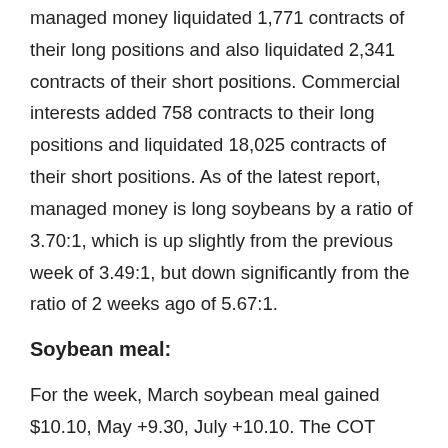managed money liquidated 1,771 contracts of their long positions and also liquidated 2,341 contracts of their short positions. Commercial interests added 758 contracts to their long positions and liquidated 18,025 contracts of their short positions. As of the latest report, managed money is long soybeans by a ratio of 3.70:1, which is up slightly from the previous week of 3.49:1, but down significantly from the ratio of 2 weeks ago of 5.67:1.
Soybean meal:
For the week, March soybean meal gained $10.10, May +9.30, July +10.10. The COT report showed that managed money liquidated 924 contracts of their long positions and added a massive 8,245 contracts to their short positions. Commercial interests liquidated 6,800